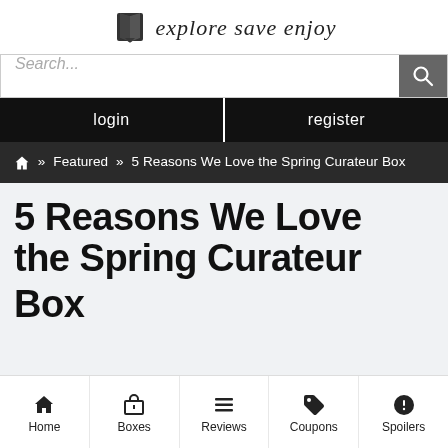[Figure (logo): Website logo with book icon and cursive tagline 'explore save enjoy']
Search...
login
register
🏠 » Featured » 5 Reasons We Love the Spring Curateur Box
5 Reasons We Love the Spring Curateur Box
Home  Boxes  Reviews  Coupons  Spoilers